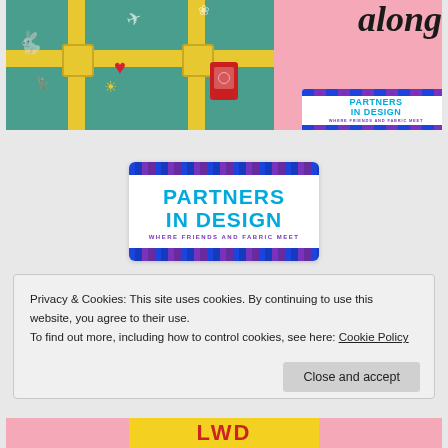[Figure (illustration): Travel-themed illustration with a teal/green suitcase decorated with stickers (heart, sun, airplane, bunny silhouettes), yellow straps and buckles, a red passport, and a pink background. On the right, cursive script reading 'along' in black, and a Partners in Design badge with blue/purple triangle border.]
[Figure (logo): Partners in Design logo badge: white rectangle with blue/purple triangle-pattern border strips top and bottom, cyan bold text 'PARTNERS IN DESIGN', purple small caps text 'WHERE FRIENDS AND FABRIC MEET']
Privacy & Cookies: This site uses cookies. By continuing to use this website, you agree to their use.
To find out more, including how to control cookies, see here: Cookie Policy
Close and accept
[Figure (illustration): Partial bottom image showing colorful illustrated characters, partially visible.]